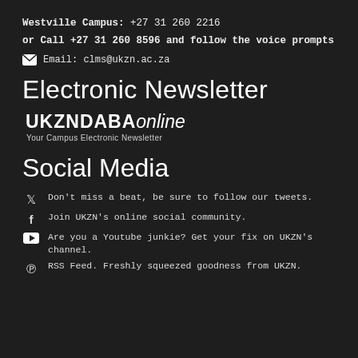Westville Campus: +27 31 260 2216
or Call +27 31 260 8596 and follow the voice prompts
Email: clms@ukzn.ac.za
Electronic Newsletter
[Figure (logo): UKZNDABA online logo with tagline 'Your Campus Electronic Newsletter']
Social Media
Don't miss a beat, be sure to follow our tweets.
Join UKZN's online social community.
Are you a Youtube junkie? Get your fix on UKZN's channel.
RSS Feed. Freshly squeezed goodness from UKZN.